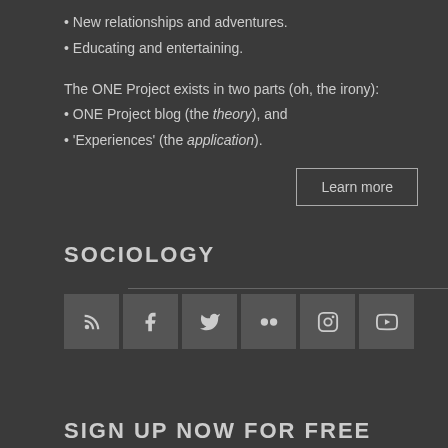• New relationships and adventures.
• Educating and entertaining.
The ONE Project exists in two parts (oh, the irony):
• ONE Project blog (the theory), and
• 'Experiences' (the application).
Learn more
SOCIOLOGY
[Figure (infographic): Row of social media icons: RSS, Facebook, Twitter, Flickr, Instagram, YouTube]
SIGN UP NOW FOR FREE